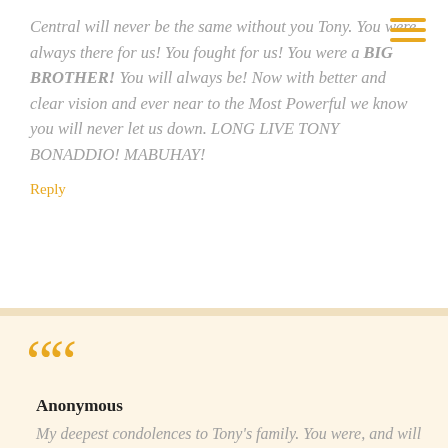Central will never be the same without you Tony. You were always there for us! You fought for us! You were a BIG BROTHER! You will always be! Now with better and clear vision and ever near to the Most Powerful we know you will never let us down. LONG LIVE TONY BONADDIO! MABUHAY!
Reply
Anonymous
My deepest condolences to Tony's family. You were, and will be, the smiling face of Central